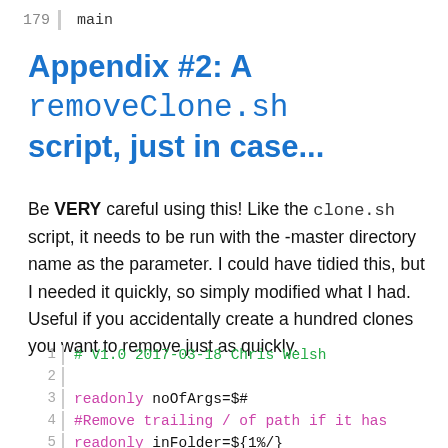179   main
Appendix #2: A removeClone.sh script, just in case...
Be VERY careful using this! Like the clone.sh script, it needs to be run with the -master directory name as the parameter. I could have tidied this, but I needed it quickly, so simply modified what I had. Useful if you accidentally create a hundred clones you want to remove just as quickly.
1   # V1.0 2017-03-18 Chris Welsh
2
3   readonly noOfArgs=$#
4   #Remove trailing / of path if it has
5   readonly inFolder=${1%/}
6   if [ "$@" == "" ]; then